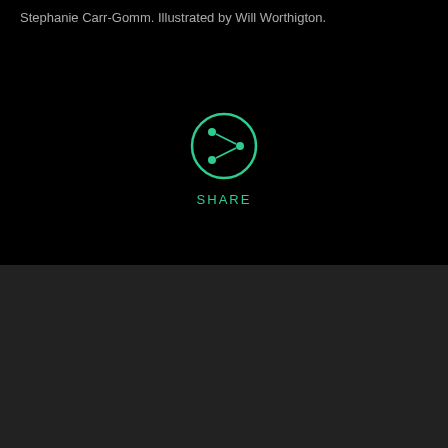Stephanie Carr-Gomm. Illustrated by Will Worthigton.
[Figure (other): Share button icon — a circle with a share/network icon inside, in teal/green color on black background, with the label SHARE below it]
Leave a comment
Name